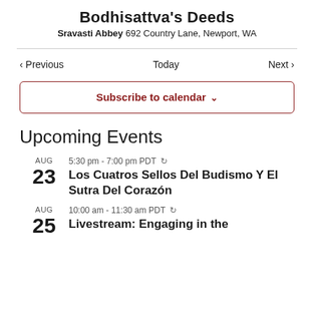Bodhisattva's Deeds
Sravasti Abbey 692 Country Lane, Newport, WA
< Previous   Today   Next >
Subscribe to calendar ∨
Upcoming Events
AUG 23 5:30 pm - 7:00 pm PDT ↻ Los Cuatros Sellos Del Budismo Y El Sutra Del Corazón
AUG 25 10:00 am - 11:30 am PDT ↻ Livestream: Engaging in the